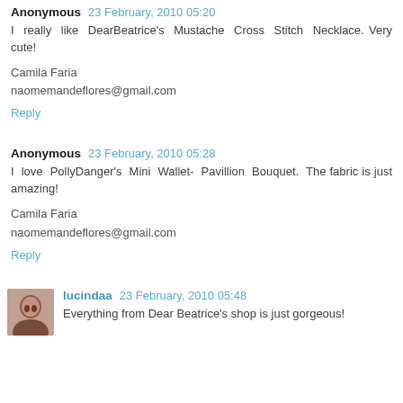Anonymous 23 February, 2010 05:20
I really like DearBeatrice's Mustache Cross Stitch Necklace. Very cute!
Camila Faria
naomemandeflores@gmail.com
Reply
Anonymous 23 February, 2010 05:28
I love PollyDanger's Mini Wallet- Pavillion Bouquet. The fabric is just amazing!
Camila Faria
naomemandeflores@gmail.com
Reply
lucindaa 23 February, 2010 05:48
Everything from Dear Beatrice's shop is just gorgeous!